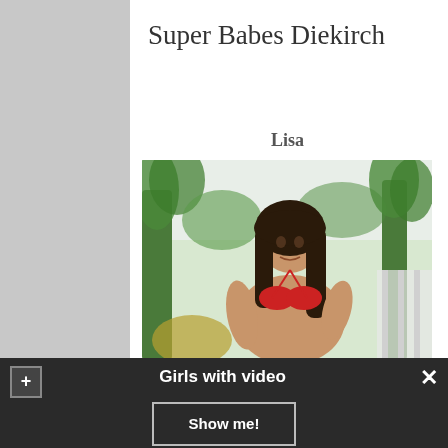Super Babes Diekirch
Lisa
[Figure (photo): Woman with long dark hair wearing a red bikini top, standing outdoors with palm trees in the background]
Girls with video
Show me!